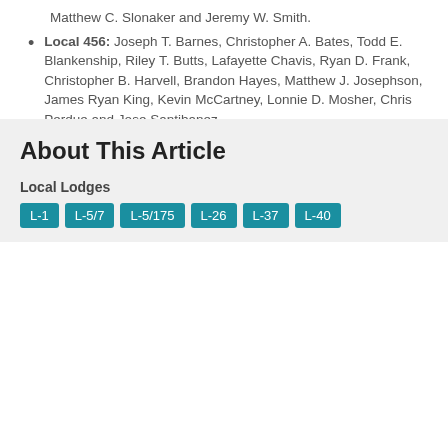Matthew C. Slonaker and Jeremy W. Smith.
Local 456: Joseph T. Barnes, Christopher A. Bates, Todd E. Blankenship, Riley T. Butts, Lafayette Chavis, Ryan D. Frank, Christopher B. Harvell, Brandon Hayes, Matthew J. Josephson, James Ryan King, Kevin McCartney, Lonnie D. Mosher, Chris Perdue and Jose Santibanez.
Local 502: Sean Peif.
Local 627: Donnie Chavez and Daniel N. Deen.
Local 647: Brian Ashmore and Robert Mewha.
Local 744: Charles J. Schlegel.
About This Article
Local Lodges
L-1  L-5/7  L-5/175  L-26  L-37  L-40